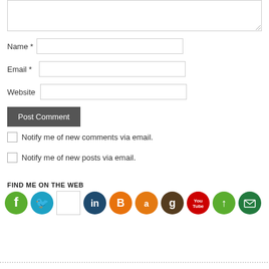[Figure (screenshot): Textarea input field (comment box) at top of page]
Name *
[Figure (screenshot): Name text input field]
Email *
[Figure (screenshot): Email text input field]
Website
[Figure (screenshot): Website text input field]
[Figure (screenshot): Post Comment button]
Notify me of new comments via email.
Notify me of new posts via email.
FIND ME ON THE WEB
[Figure (infographic): Row of social media circular icons: Facebook (green), Twitter (blue), blank/white square, LinkedIn (dark blue), Blogger (orange), Amazon (orange), Goodreads (brown), YouTube (red), Share/Upload (green), Email (dark green)]